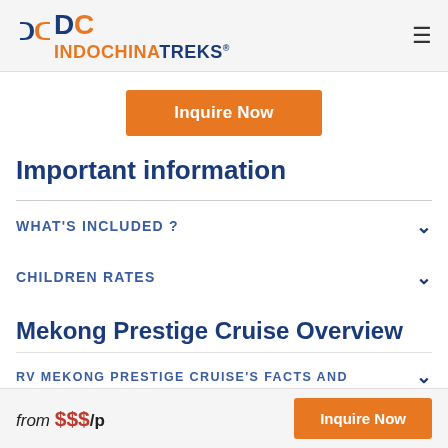INDOCHINATREKS®
Inquire Now
Important information
WHAT'S INCLUDED ?
CHILDREN RATES
Mekong Prestige Cruise Overview
RV MEKONG PRESTIGE CRUISE'S FACTS AND
from $$$/p  Inquire Now